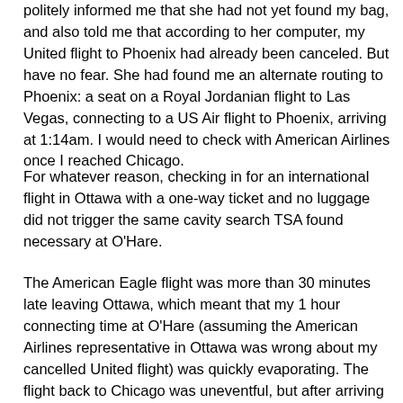politely informed me that she had not yet found my bag, and also told me that according to her computer, my United flight to Phoenix had already been canceled. But have no fear. She had found me an alternate routing to Phoenix: a seat on a Royal Jordanian flight to Las Vegas, connecting to a US Air flight to Phoenix, arriving at 1:14am. I would need to check with American Airlines once I reached Chicago.
For whatever reason, checking in for an international flight in Ottawa with a one-way ticket and no luggage did not trigger the same cavity search TSA found necessary at O'Hare.
The American Eagle flight was more than 30 minutes late leaving Ottawa, which meant that my 1 hour connecting time at O'Hare (assuming the American Airlines representative in Ottawa was wrong about my cancelled United flight) was quickly evaporating. The flight back to Chicago was uneventful, but after arriving in Chicago 30 minutes late, American had no gate for our plane, so we proceeded to sit on the tarmac for 20 additional minutes. The plane started moving again, but stopped 100 feet short of the gate, because now there was no ground crew available to position